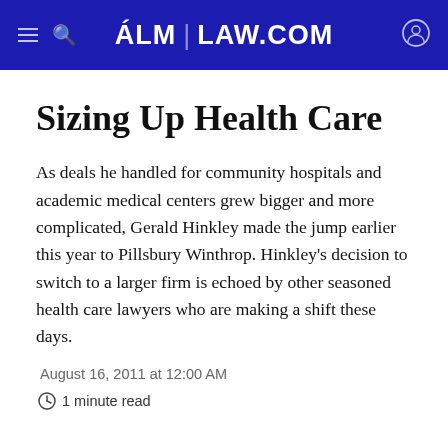ALM | LAW.COM
Sizing Up Health Care
As deals he handled for community hospitals and academic medical centers grew bigger and more complicated, Gerald Hinkley made the jump earlier this year to Pillsbury Winthrop. Hinkley's decision to switch to a larger firm is echoed by other seasoned health care lawyers who are making a shift these days.
August 16, 2011 at 12:00 AM
1 minute read